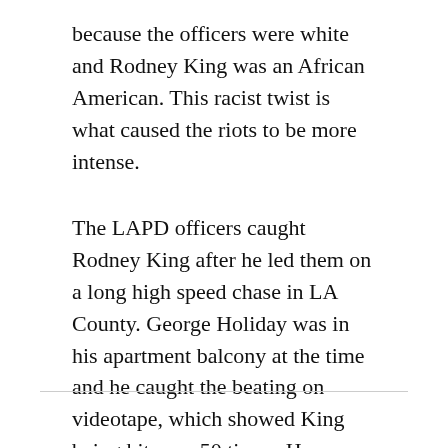because the officers were white and Rodney King was an African American. This racist twist is what caused the riots to be more intense.
The LAPD officers caught Rodney King after he led them on a long high speed chase in LA County. George Holiday was in his apartment balcony at the time and he caught the beating on videotape, which showed King being hit over 50 times. He suffered several injuries, including 11 fractures. This event took place on the 3rd of March 1991.